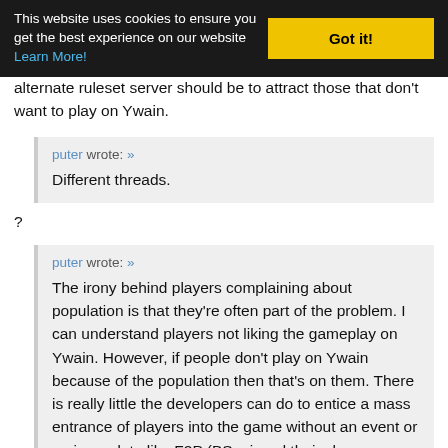This website uses cookies to ensure you get the best experience on our website Learn More! Got it!
alternate ruleset server should be to attract those that don't want to play on Ywain.
puter wrote: » Different threads.
?
puter wrote: » The irony behind players complaining about population is that they're often part of the problem. I can understand players not liking the gameplay on Ywain. However, if people don't play on Ywain because of the population then that's on them. There is really little the developers can do to entice a mass entrance of players into the game without an event or major update like F2P (BS missed their chance on that one). A new server will draw a